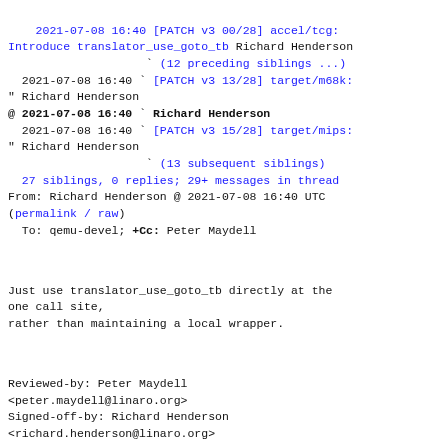2021-07-08 16:40 [PATCH v3 00/28] accel/tcg: Introduce translator_use_goto_tb Richard Henderson
` (12 preceding siblings ...)
2021-07-08 16:40 ` [PATCH v3 13/28] target/m68k: " Richard Henderson
@ 2021-07-08 16:40 ` Richard Henderson
2021-07-08 16:40 ` [PATCH v3 15/28] target/mips: " Richard Henderson
` (13 subsequent siblings)
27 siblings, 0 replies; 29+ messages in thread
From: Richard Henderson @ 2021-07-08 16:40 UTC
(permalink / raw)
To: qemu-devel; +Cc: Peter Maydell
Just use translator_use_goto_tb directly at the one call site,
rather than maintaining a local wrapper.
Reviewed-by: Peter Maydell
<peter.maydell@linaro.org>
Signed-off-by: Richard Henderson
<richard.henderson@linaro.org>
---
target/microblaze/translate.c | 11 +----------
1 file changed, 1 insertion(+), 10 deletions(-)
diff --git a/target/microblaze/translate.c b/target/microblaze/translate.c
index c1b13f4c7d..b753f080e7 100644
--- a/target/microblaze/translate.c